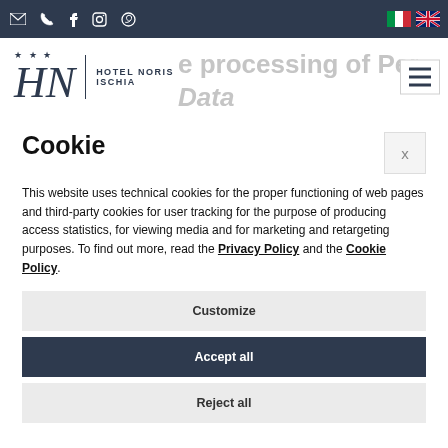Hotel Noris Ischia — top navigation bar with social icons and language flags
[Figure (logo): Hotel Noris Ischia logo with three stars and stylized HN monogram]
Cookie
This website uses technical cookies for the proper functioning of web pages and third-party cookies for user tracking for the purpose of producing access statistics, for viewing media and for marketing and retargeting purposes. To find out more, read the Privacy Policy and the Cookie Policy.
Customize
Accept all
Reject all